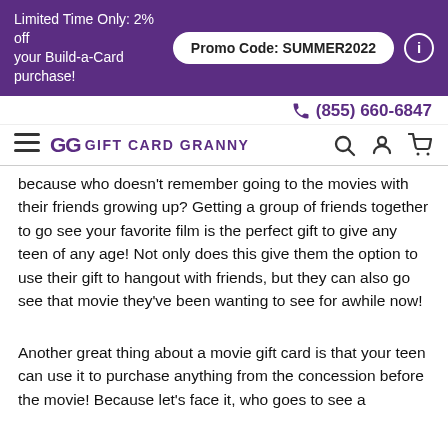Limited Time Only: 2% off your Build-a-Card purchase! Promo Code: SUMMER2022
(855) 660-6847
GG GIFT CARD GRANNY
because who doesn't remember going to the movies with their friends growing up? Getting a group of friends together to go see your favorite film is the perfect gift to give any teen of any age! Not only does this give them the option to use their gift to hangout with friends, but they can also go see that movie they've been wanting to see for awhile now!
Another great thing about a movie gift card is that your teen can use it to purchase anything from the concession before the movie! Because let's face it, who goes to see a